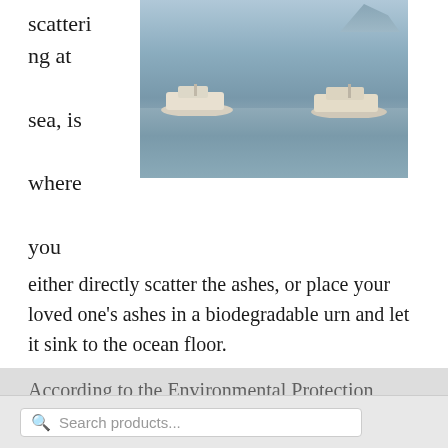scattering at sea, is where you
[Figure (photo): Two small white boats floating on calm water near a shoreline, with mountains visible in the background.]
either directly scatter the ashes, or place your loved one's ashes in a biodegradable urn and let it sink to the ocean floor.
According to the Environmental Protection Agency (EPA) and federal law these services must take place at least 3 nautical miles from land. You also have to make sure that you don't use any material during your ceremony that won't break down quickly in the w...
Search products...